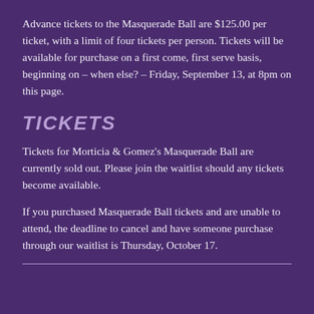Advance tickets to the Masquerade Ball are $125.00 per ticket, with a limit of four tickets per person. Tickets will be available for purchase on a first come, first serve basis, beginning on – when else? – Friday, September 13, at 8pm on this page.
TICKETS
Tickets for Morticia & Gomez's Masquerade Ball are currently sold out. Please join the waitlist should any tickets become available.
If you purchased Masquerade Ball tickets and are unable to attend, the deadline to cancel and have someone purchase through our waitlist is Thursday, October 17.